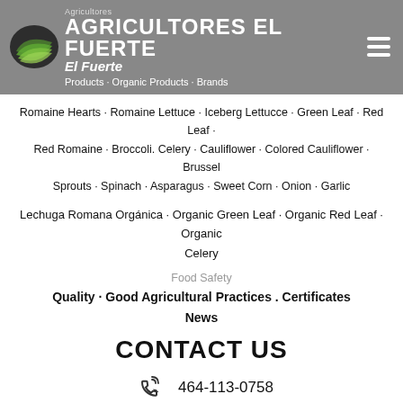AGRICULTORES EL FUERTE · Agricultores El Fuerte · Products · Organic Products · Brands
Romaine Hearts · Romaine Lettuce · Iceberg Lettucce · Green Leaf · Red Leaf · Red Romaine · Broccoli. Celery · Cauliflower · Colored Cauliflower · Brussel Sprouts · Spinach · Asparagus · Sweet Corn · Onion · Garlic
Lechuga Romana Orgánica · Organic Green Leaf · Organic Red Leaf · Organic Celery
Food Safety
Quality · Good Agricultural Practices . Certificates
News
CONTACT US
464-113-0758
contacto@agfuerte.com